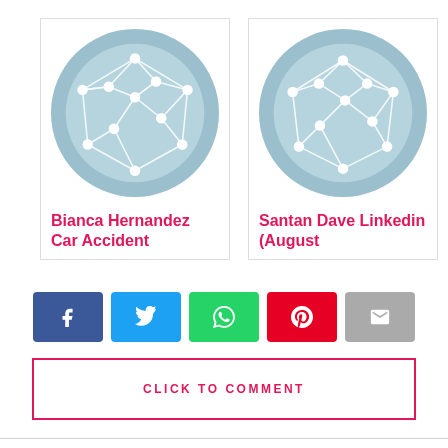[Figure (illustration): Blog post card with network/graph icon - Bianca Hernandez Car Accident]
[Figure (illustration): Blog post card with network/graph icon - Santan Dave Linkedin (August]
Bianca Hernandez Car Accident
Santan Dave Linkedin (August
[Figure (infographic): Social share buttons: Facebook, Twitter, WhatsApp, Pinterest, Email]
CLICK TO COMMENT
BLOG
NBA 2k21 Face Scan App / July